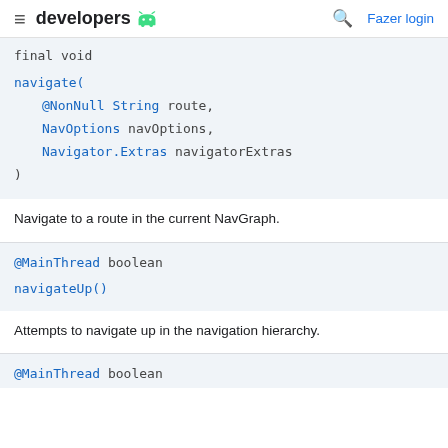developers [android icon] | Fazer login
final void
navigate(
    @NonNull String route,
    NavOptions navOptions,
    Navigator.Extras navigatorExtras
)
Navigate to a route in the current NavGraph.
@MainThread boolean
navigateUp()
Attempts to navigate up in the navigation hierarchy.
@MainThread boolean